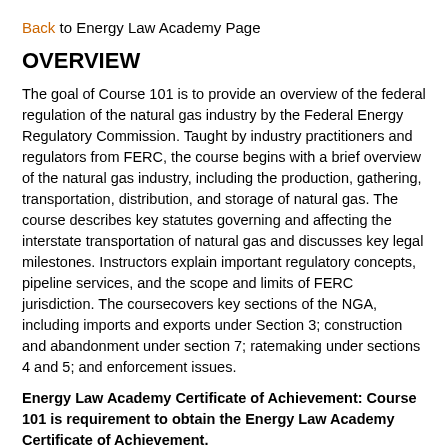Back to Energy Law Academy Page
OVERVIEW
The goal of Course 101 is to provide an overview of the federal regulation of the natural gas industry by the Federal Energy Regulatory Commission. Taught by industry practitioners and regulators from FERC, the course begins with a brief overview of the natural gas industry, including the production, gathering, transportation, distribution, and storage of natural gas. The course describes key statutes governing and affecting the interstate transportation of natural gas and discusses key legal milestones. Instructors explain important regulatory concepts, pipeline services, and the scope and limits of FERC jurisdiction. The coursecovers key sections of the NGA, including imports and exports under Section 3; construction and abandonment under section 7; ratemaking under sections 4 and 5; and enforcement issues.
Energy Law Academy Certificate of Achievement: Course 101 is requirement to obtain the Energy Law Academy Certificate of Achievement.